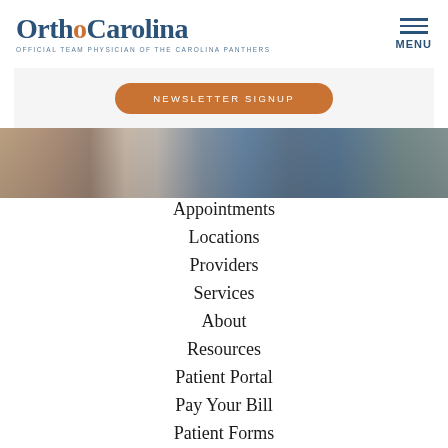[Figure (logo): OrthoCarolina logo with text 'OFFICIAL TEAM PHYSICIAN OF THE CAROLINA PANTHERS']
[Figure (other): Hamburger menu icon with MENU label]
[Figure (photo): Newsletter signup button on white card overlay above a photo of people in a gym/exercise setting]
Appointments
Locations
Providers
Services
About
Resources
Patient Portal
Pay Your Bill
Patient Forms